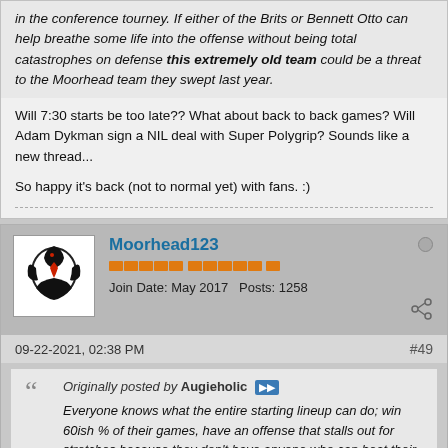in the conference tourney. If either of the Brits or Bennett Otto can help breathe some life into the offense without being total catastrophes on defense this extremely old team could be a threat to the Moorhead team they swept last year.
Will 7:30 starts be too late?? What about back to back games? Will Adam Dykman sign a NIL deal with Super Polygrip? Sounds like a new thread...
So happy it's back (not to normal yet) with fans. :)
Moorhead123
Join Date: May 2017   Posts: 1258
09-22-2021, 02:38 PM
#49
Originally posted by Augieholic
Everyone knows what the entire starting lineup can do; win 60ish % of their games, have an offense that stalls out for stretches because they don't have anyone who can beat their man off the dribble, and lose in absolutely maddening fashion